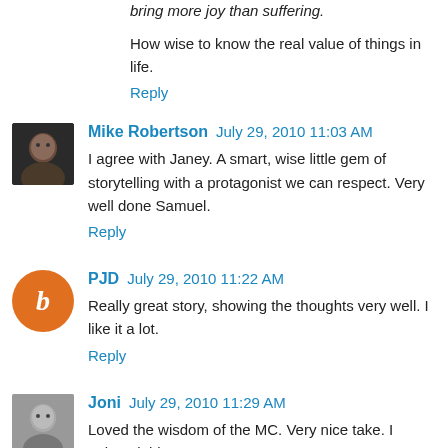bring more joy than suffering.
How wise to know the real value of things in life.
Reply
Mike Robertson  July 29, 2010 11:03 AM
I agree with Janey. A smart, wise little gem of storytelling with a protagonist we can respect. Very well done Samuel.
Reply
PJD  July 29, 2010 11:22 AM
Really great story, showing the thoughts very well. I like it a lot.
Reply
Joni  July 29, 2010 11:29 AM
Loved the wisdom of the MC. Very nice take. I enjoyed this